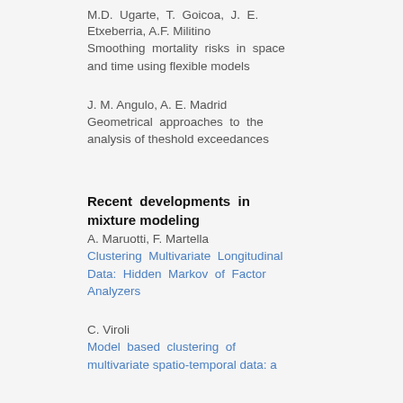M.D. Ugarte, T. Goicoa, J. E. Etxeberria, A.F. Militino
Smoothing mortality risks in space and time using flexible models
J. M. Angulo, A. E. Madrid
Geometrical approaches to the analysis of theshold exceedances
Recent developments in mixture modeling
A. Maruotti, F. Martella
Clustering Multivariate Longitudinal Data: Hidden Markov of Factor Analyzers
C. Viroli
Model based clustering of multivariate spatio-temporal data: a